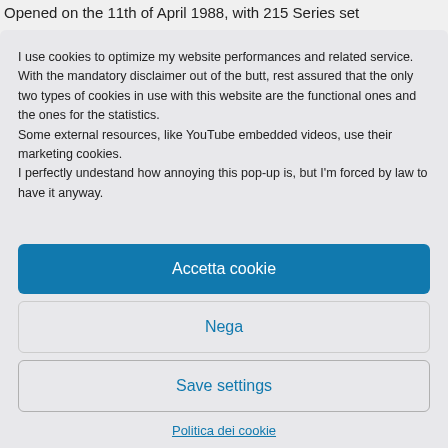Opened on the 11th of April 1988, with 215 Series set
I use cookies to optimize my website performances and related service. With the mandatory disclaimer out of the butt, rest assured that the only two types of cookies in use with this website are the functional ones and the ones for the statistics.
Some external resources, like YouTube embedded videos, use their marketing cookies.
I perfectly undestand how annoying this pop-up is, but I'm forced by law to have it anyway.
Accetta cookie
Nega
Save settings
Politica dei cookie